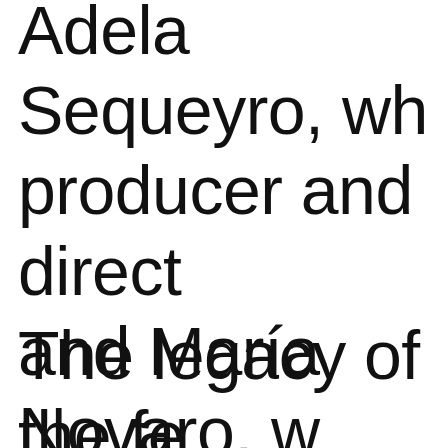Adela Sequeyro, who was a producer and director, and María Novaro, whose sister Lara, was part of feminist Cine Mujer in the 19...
The legacy of the feminist movement has been long-lasting for Mexican ...